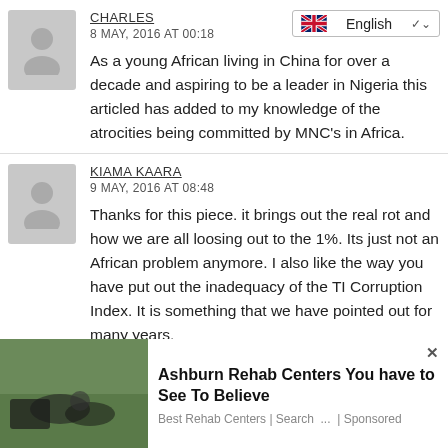CHARLES
8 MAY, 2016 AT 00:18
As a young African living in China for over a decade and aspiring to be a leader in Nigeria this articled has added to my knowledge of the atrocities being committed by MNC's in Africa.
KIAMA KAARA
9 MAY, 2016 AT 08:48
Thanks for this piece. it brings out the real rot and how we are all loosing out to the 1%. Its just not an African problem anymore. I also like the way you have put out the inadequacy of the TI Corruption Index. It is something that we have pointed out for many years.
[Figure (infographic): Advertisement banner: Ashburn Rehab Centers You have to See To Believe - Best Rehab Centers | Search ... | Sponsored. Shows a photo of people on grass on the left side.]